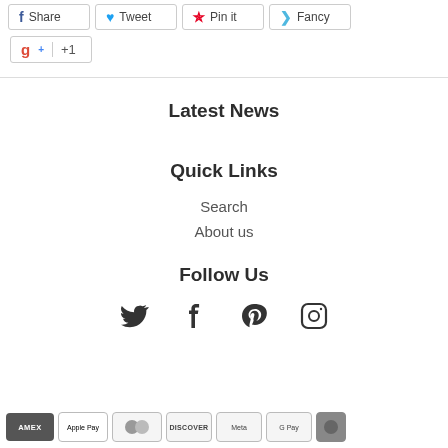[Figure (other): Social share buttons row: Share (Facebook), Tweet (Twitter), Pin it (Pinterest), Fancy]
[Figure (other): Google Plus +1 button]
Latest News
Quick Links
Search
About us
Follow Us
[Figure (other): Social media follow icons: Twitter, Facebook, Pinterest, Instagram]
[Figure (other): Payment method badges at bottom: AMEX, Apple Pay, and others including Discover, Meta, G Pay, and one more]